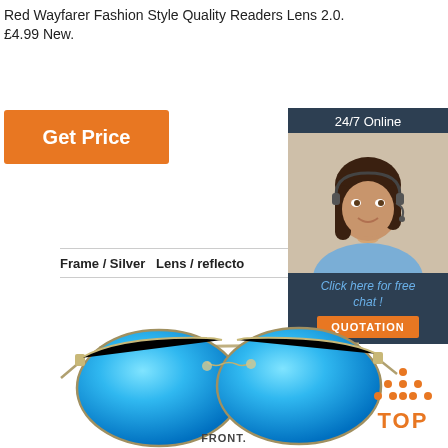Red Wayfarer Fashion Style Quality Readers Lens 2.0. £4.99 New.
[Figure (infographic): Orange 'Get Price' button]
[Figure (infographic): 24/7 Online chat widget with photo of woman with headset, 'Click here for free chat!' text, and orange QUOTATION button]
Frame / Silver   Lens / reflecto
[Figure (photo): Aviator sunglasses with silver frame and blue reflective lenses, front view]
FRONT.
[Figure (infographic): Orange TOP badge with dots above]